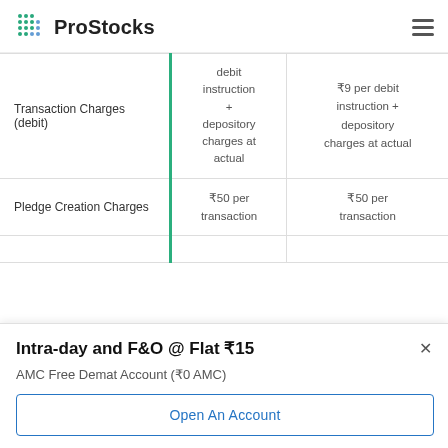ProStocks
|  |  |  |
| --- | --- | --- |
| Transaction Charges (debit) | debit instruction + depository charges at actual | ₹9 per debit instruction + depository charges at actual |
| Pledge Creation Charges | ₹50 per transaction | ₹50 per transaction |
|  |  |  |
Intra-day and F&O @ Flat ₹15
AMC Free Demat Account (₹0 AMC)
Open An Account